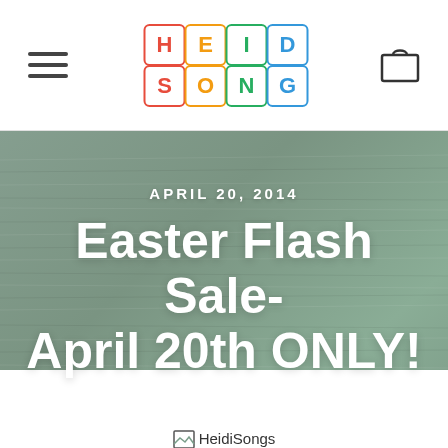HeidiSongs — Navigation bar with hamburger menu, logo, and cart icon
[Figure (logo): HeidiSongs logo made of colorful letter blocks arranged in a 4x2 grid spelling HEIDI SONGS]
APRIL 20, 2014
Easter Flash Sale- April 20th ONLY!
[Figure (photo): HeidiSongs Easter Flash Sale promotional image — broken/unloaded image placeholder]
HeidiSongs Easter Flash Sale!